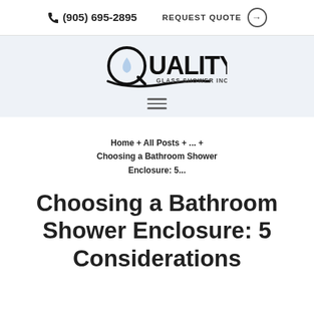☎ (905) 695-2895   REQUEST QUOTE →
[Figure (logo): Quality Glass Shower Inc. logo with stylized Q containing a water drop and swoosh beneath]
Home + All Posts + ... + Choosing a Bathroom Shower Enclosure: 5...
Choosing a Bathroom Shower Enclosure: 5 Considerations